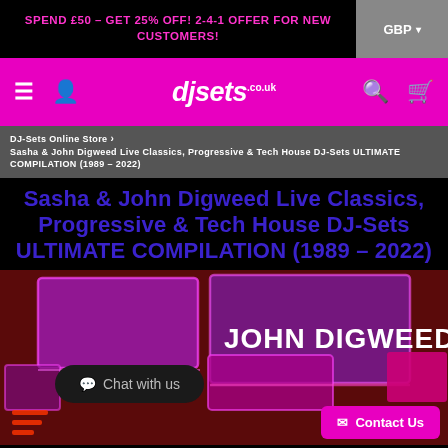SPEND £50 - GET 25% OFF! 2-4-1 OFFER FOR NEW CUSTOMERS!
[Figure (screenshot): DJ-Sets website navigation bar with hamburger menu, user icon, djsets.co.uk logo in white italic on magenta background, search and cart icons]
DJ-Sets Online Store › Sasha & John Digweed Live Classics, Progressive & Tech House DJ-Sets ULTIMATE COMPILATION (1989 - 2022)
Sasha & John Digweed Live Classics, Progressive & Tech House DJ-Sets ULTIMATE COMPILATION (1989 – 2022)
[Figure (photo): Album cover art showing neon glowing rectangles in pink and purple on dark red background with text JOHN DIGWEED in bright white neon-style lettering. A dark rounded chat bubble shows 'Chat with us' and a pink Contact Us button appears in bottom right.]